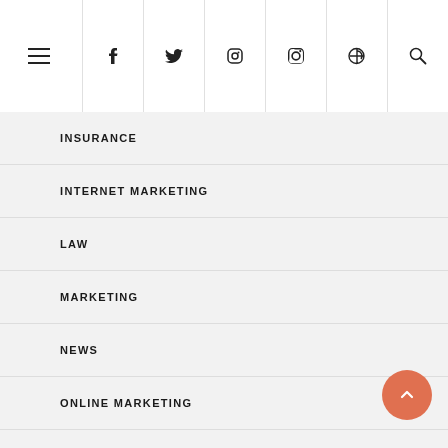Navigation menu header with hamburger icon and social icons (Facebook, Twitter, Instagram, Pinterest, Search)
INSURANCE
INTERNET MARKETING
LAW
MARKETING
NEWS
ONLINE MARKETING
PET
PETS
PHOTOGRAPHY
REAL ESTATE